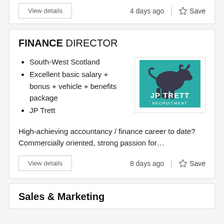View details | 4 days ago | Save
FINANCE DIRECTOR
South-West Scotland
Excellent basic salary + bonus + vehicle + benefits package
JP Trett
[Figure (logo): JP Trett Recruitment logo — teal background with a dark bull silhouette and white text 'JP TRETT RECRUITMENT']
High-achieving accountancy / finance career to date? Commercially oriented, strong passion for…
View details | 8 days ago | Save
Sales & Marketing